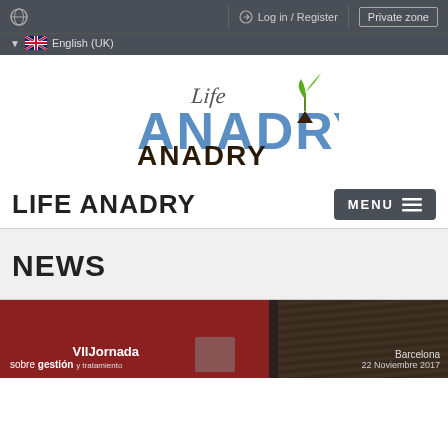Log in / Register | Private zone | English (UK)
[Figure (logo): Life ANADRY logo with a plant seedling graphic and blue/brown lettering]
LIFE ANADRY
NEWS
[Figure (photo): News card showing VII Jornada sobre gestión y tratamiento event, Barcelona, 22 Noviembre 2017]